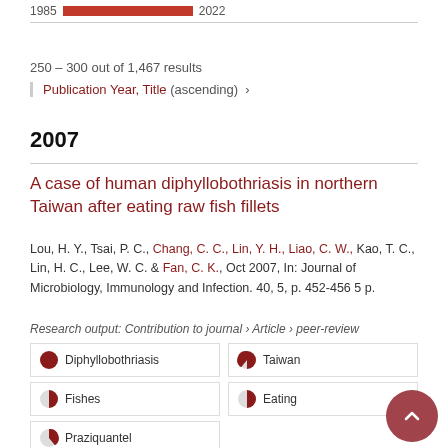1985 ▓▓▓▓▓▓▓▓▓▓▓▓▓ 2022
250 – 300 out of 1,467 results
Publication Year, Title (ascending) ›
2007
A case of human diphyllobothriasis in northern Taiwan after eating raw fish fillets
Lou, H. Y., Tsai, P. C., Chang, C. C., Lin, Y. H., Liao, C. W., Kao, T. C., Lin, H. C., Lee, W. C. & Fan, C. K., Oct 2007, In: Journal of Microbiology, Immunology and Infection. 40, 5, p. 452-456 5 p.
Research output: Contribution to journal › Article › peer-review
Diphyllobothriasis (100%)
Taiwan (50%)
Fishes (50%)
Eating (50%)
Praziquantel (40%)